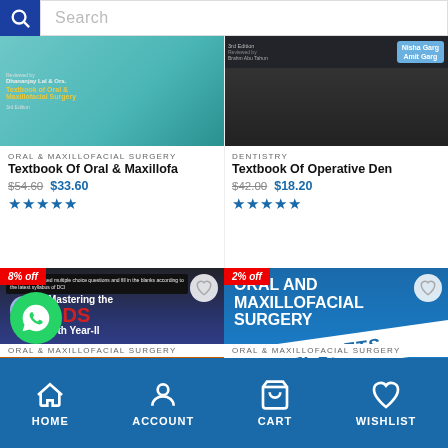[Figure (screenshot): Mobile app screenshot showing a search bar at the top with a blue search icon]
[Figure (photo): Book cover: Textbook of Oral & Maxillofacial Surgery with teal cover]
ORAL & MAXILLOFACIAL SURGERY
Textbook Of Oral & Maxillofa
$54.60  $33.60
[Figure (photo): Book cover: Textbook of Operative Dentistry, dark cover with blue badge showing Nisha Garg, Amit Garg]
DENTISTRY
Textbook Of Operative Den
$42.00  $18.20
[Figure (photo): Book cover: Mastering the BDS IVth Year-II, 6th edition by Hemant Gupta — includes Conservative Dentistry and Endodontics, Oral Surgery, Prosthodontics, Pedo — 8% off badge]
[Figure (photo): Book cover: Oral and Maxillofacial Surgery Secrets, Third Edition by A. Omar Abubaker, Din Lam, Kenneth J. Benson — 2% off badge]
ORAL & MAXILLOFACIAL SURGERY
ORAL & MAXILLOFACIAL SURGERY
HOME  ACCOUNT  CART  WISHLIST